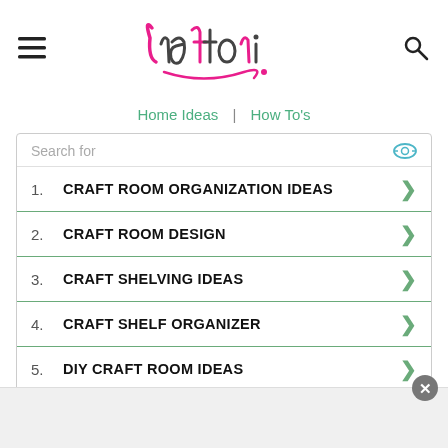Craftori logo with hamburger menu and search icon
Home Ideas | How To's
1. CRAFT ROOM ORGANIZATION IDEAS
2. CRAFT ROOM DESIGN
3. CRAFT SHELVING IDEAS
4. CRAFT SHELF ORGANIZER
5. DIY CRAFT ROOM IDEAS